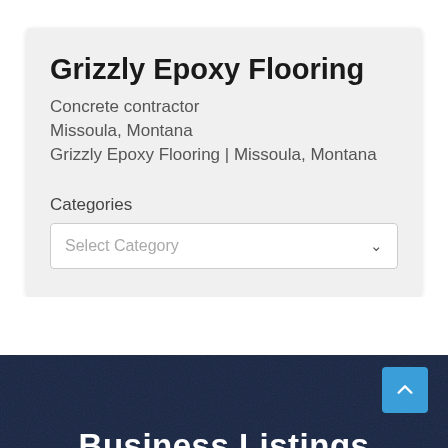Grizzly Epoxy Flooring
Concrete contractor
Missoula, Montana
Grizzly Epoxy Flooring | Missoula, Montana
Categories
Select Category
Business Listings